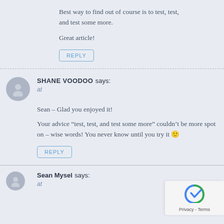Best way to find out of course is to test, test, and test some more.
Great article!
REPLY
SHANE VOODOO says: at
Sean – Glad you enjoyed it!
Your advice “test, test, and test some more” couldn’t be more spot on – wise words! You never know until you try it 🙂
REPLY
Sean Mysel says: at